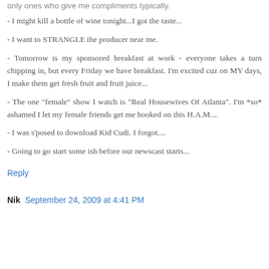only ones who give me compliments typically.
- I might kill a bottle of wine tonight...I got the taste...
- I want to STRANGLE the producer near me.
- Tomorrow is my sponsored breakfast at work - everyone takes a turn chipping in, but every Friday we have breakfast. I'm excited cuz on MY days, I make them get fresh fruit and fruit juice...
- The one "female" show I watch is "Real Housewives Of Atlanta". I'm *so* ashamed I let my female friends get me hooked on this H.A.M....
- I was s'posed to download Kid Cudi. I forgot....
- Going to go start some ish before our newscast starts...
Reply
Nik  September 24, 2009 at 4:41 PM